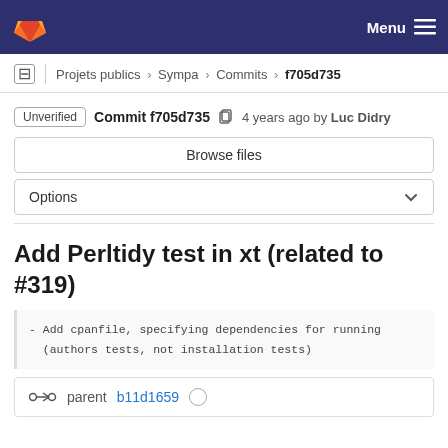GitLab — Menu
Projets publics › Sympa › Commits › f705d735
Unverified Commit f705d735 4 years ago by Luc Didry
Browse files
Options
Add Perltidy test in xt (related to #319)
- Add cpanfile, specifying dependencies for running (authors tests, not installation tests)
parent b11d1659